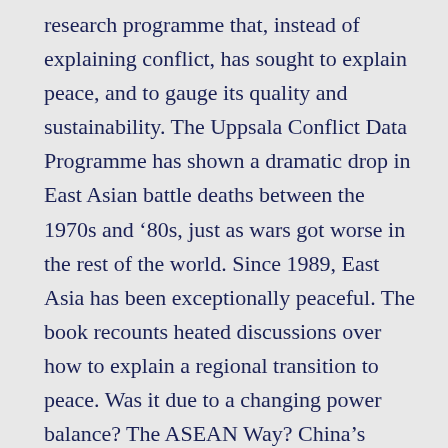research programme that, instead of explaining conflict, has sought to explain peace, and to gauge its quality and sustainability. The Uppsala Conflict Data Programme has shown a dramatic drop in East Asian battle deaths between the 1970s and ‘80s, just as wars got worse in the rest of the world. Since 1989, East Asia has been exceptionally peaceful. The book recounts heated discussions over how to explain a regional transition to peace. Was it due to a changing power balance? The ASEAN Way? China’s ‘peaceful development’ doctrine? Growing economic interdependence? Or, as the author contends, a series of national priority shifts by powerful Asian leaders who prioritized